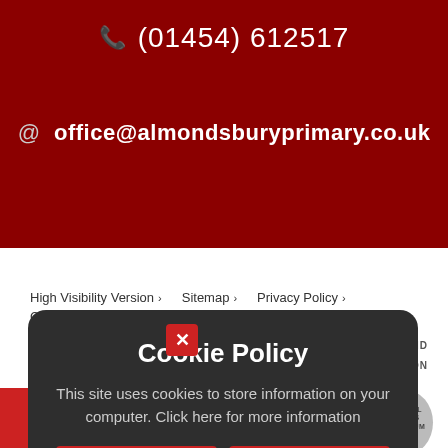(01454) 612517
office@almondsburyprimary.co.uk
High Visibility Version  >   Sitemap  >   Privacy Policy  >   Cookie Settings  >
CHURCH OF ENGLAND
EDUCATION
[Figure (logo): School Games Platinum badge, circular grey badge with text SCHOOL GAMES PLATINUM 17/18]
Cookie Policy
This site uses cookies to store information on your computer. Click here for more information
Allow Cookies
Deny Cookies